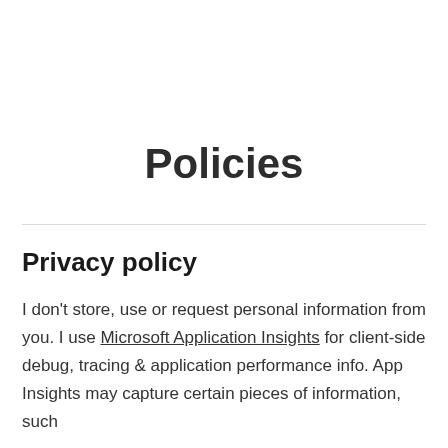Policies
Privacy policy
I don't store, use or request personal information from you. I use Microsoft Application Insights for client-side debug, tracing & application performance info. App Insights may capture certain pieces of information, such